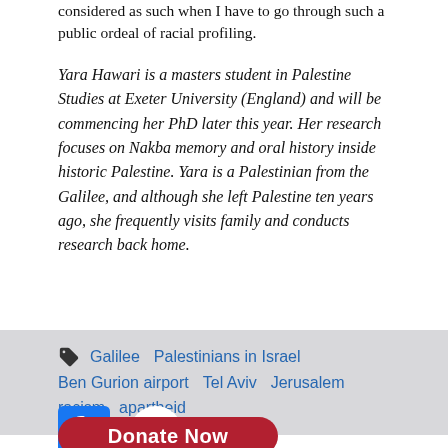considered as such when I have to go through such a public ordeal of racial profiling.
Yara Hawari is a masters student in Palestine Studies at Exeter University (England) and will be commencing her PhD later this year. Her research focuses on Nakba memory and oral history inside historic Palestine. Yara is a Palestinian from the Galilee, and although she left Palestine ten years ago, she frequently visits family and conducts research back home.
Galilee  Palestinians in Israel  Ben Gurion airport  Tel Aviv  Jerusalem  racism  apartheid
[Figure (other): Facebook and Twitter social share icons]
[Figure (other): Red Donate Now button]